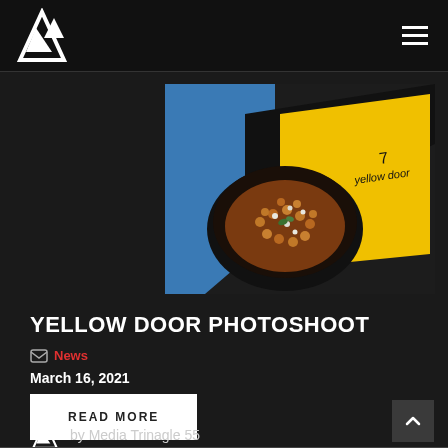Media Trinagle 55 — Navigation header with logo and hamburger menu
[Figure (photo): Food bowl with stew/chickpeas toppings next to a yellow branded menu book labeled 'yellow door', dark moody photography on a dark table with blue accent]
YELLOW DOOR PHOTOSHOOT
News
March 16, 2021
READ MORE
by Media Trinagle 55